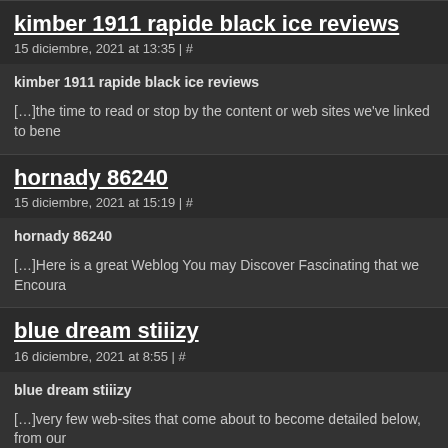kimber 1911 rapide black ice reviews
15 diciembre, 2021 at 13:35 | #
kimber 1911 rapide black ice reviews
[…]the time to read or stop by the content or web sites we've linked to bene
hornady 86240
15 diciembre, 2021 at 15:19 | #
hornady 86240
[…]Here is a great Weblog You may Discover Fascinating that we Encoura
blue dream stiiizy
16 diciembre, 2021 at 8:55 | #
blue dream stiiizy
[…]very few web-sites that come about to become detailed below, from our
how to get a free onn number: